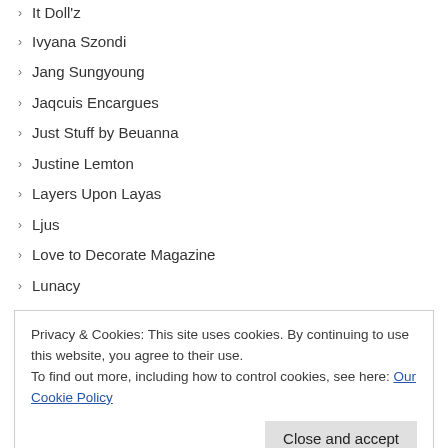It Doll'z
Ivyana Szondi
Jang Sungyoung
Jaqcuis Encargues
Just Stuff by Beuanna
Justine Lemton
Layers Upon Layas
Ljus
Love to Decorate Magazine
Lunacy
Mauro's Way
Men-Datory
Mr Showman
Mr Sunborne
Privacy & Cookies: This site uses cookies. By continuing to use this website, you agree to their use. To find out more, including how to control cookies, see here: Our Cookie Policy
Pieces of my [S]Life